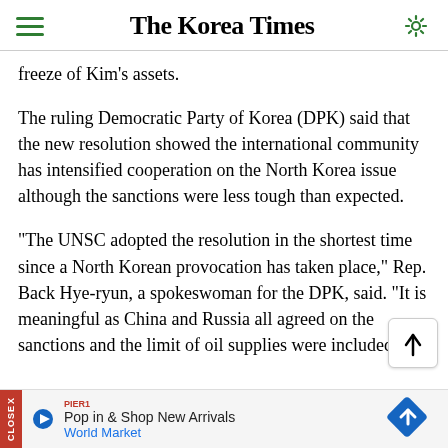The Korea Times
freeze of Kim's assets.
The ruling Democratic Party of Korea (DPK) said that the new resolution showed the international community has intensified cooperation on the North Korea issue although the sanctions were less tough than expected.
"The UNSC adopted the resolution in the shortest time since a North Korean provocation has taken place," Rep. Back Hye-ryun, a spokeswoman for the DPK, said. "It is meaningful as China and Russia all agreed on the sanctions and the limit of oil supplies were included."
Pop in & Shop New Arrivals World Market